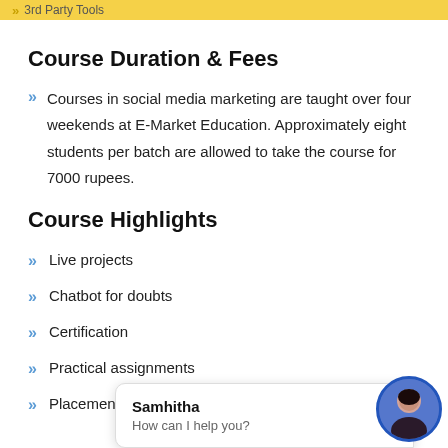3rd Party Tools
Course Duration & Fees
Courses in social media marketing are taught over four weekends at E-Market Education. Approximately eight students per batch are allowed to take the course for 7000 rupees.
Course Highlights
Live projects
Chatbot for doubts
Certification
Practical assignments
Placement assist
Samhitha
How can I help you?